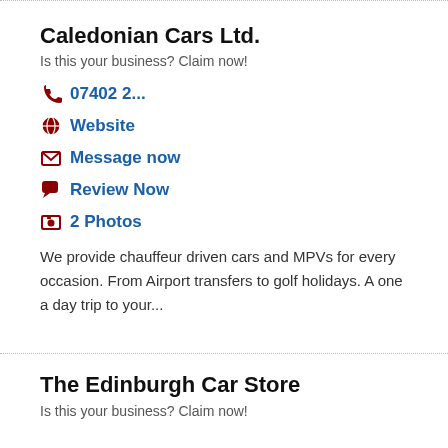Caledonian Cars Ltd.
Is this your business? Claim now!
07402 2...
Website
Message now
Review Now
2 Photos
We provide chauffeur driven cars and MPVs for every occasion. From Airport transfers to golf holidays. A one a day trip to your...
The Edinburgh Car Store
Is this your business? Claim now!